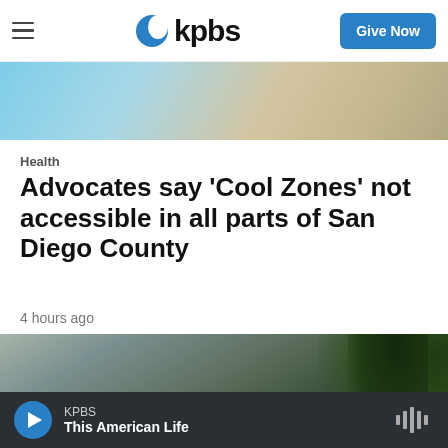kpbs — Give Now
[Figure (photo): Partial view of a photo, showing abstract shapes in light blue and beige tones, cropped at the top of the page]
Health
Advocates say 'Cool Zones' not accessible in all parts of San Diego County
4 hours ago
[Figure (photo): Outdoor landscape photo showing a hilly terrain with trees and foliage in the foreground, overcast sky, partial view cropped at bottom]
KPBS — This American Life